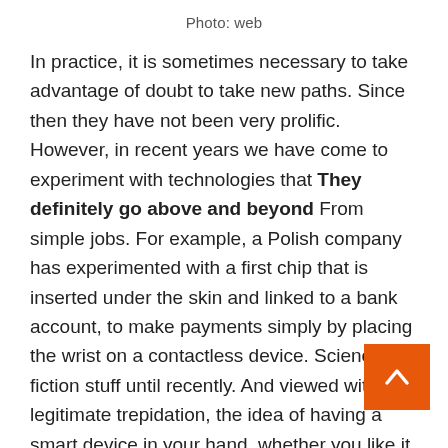Photo: web
In practice, it is sometimes necessary to take advantage of doubt to take new paths. Since then they have not been very prolific. However, in recent years we have come to experiment with technologies that They definitely go above and beyond From simple jobs. For example, a Polish company has experimented with a first chip that is inserted under the skin and linked to a bank account, to make payments simply by placing the wrist on a contactless device. Science fiction stuff until recently. And viewed with legitimate trepidation, the idea of having a smart device in your hand, whether you like it or not, is an exaggeration.

Also because cards, after all, have approval. Contactless payment also but only through physical